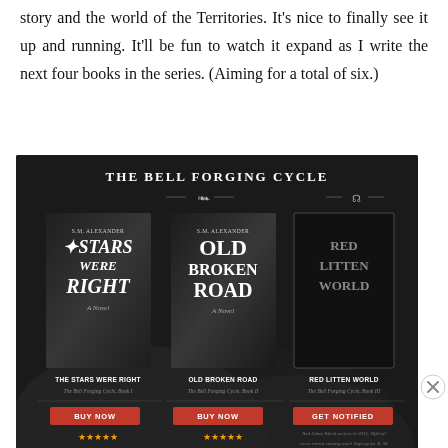story and the world of the Territories. It's nice to finally see it up and running. It'll be fun to watch it expand as I write the next four books in the series. (Aiming for a total of six.)
[Figure (illustration): The Bell Forging Cycle book series advertisement showing three books: The Stars Were Right (Book I), Old Broken Road (Book II), and Red Litten World (Book III), with buy now / get notified buttons and star ratings on a dark background.]
Advertisements
[Figure (illustration): WordPress advertisement banner with text 'Opinions. We all have them!' alongside WordPress and another logo on a dark blue background.]